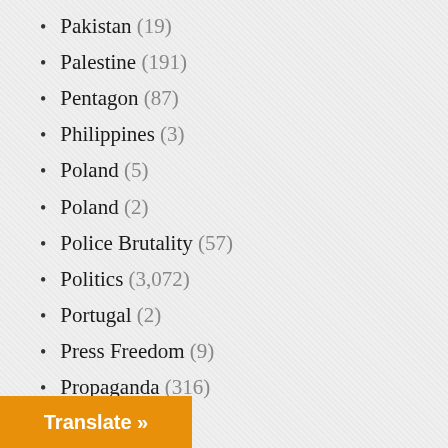Pakistan (19)
Palestine (191)
Pentagon (87)
Philippines (3)
Poland (5)
Poland (2)
Police Brutality (57)
Politics (3,072)
Portugal (2)
Press Freedom (9)
Propaganda (316)
Protest (20)
Protests (91)
Qatar (4)
Race Relations (42)
Racism (78)
Religion (419)
Right Wing (2,831)
(10)